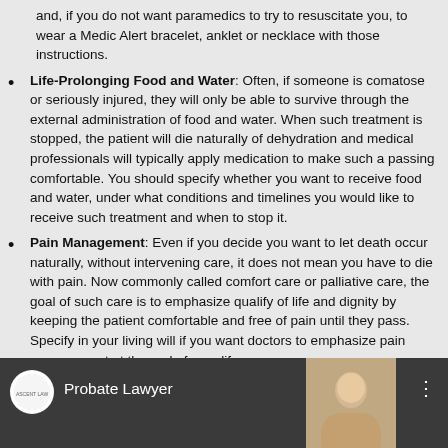and, if you do not want paramedics to try to resuscitate you, to wear a Medic Alert bracelet, anklet or necklace with those instructions.
Life-Prolonging Food and Water: Often, if someone is comatose or seriously injured, they will only be able to survive through the external administration of food and water. When such treatment is stopped, the patient will die naturally of dehydration and medical professionals will typically apply medication to make such a passing comfortable. You should specify whether you want to receive food and water, under what conditions and timelines you would like to receive such treatment and when to stop it.
Pain Management: Even if you decide you want to let death occur naturally, without intervening care, it does not mean you have to die with pain. Now commonly called comfort care or palliative care, the goal of such care is to emphasize qualify of life and dignity by keeping the patient comfortable and free of pain until they pass. Specify in your living will if you want doctors to emphasize pain management at the end of your life.
[Figure (screenshot): Video player thumbnail showing 'Probate Lawyer' title with a woman's face visible, dark background bar with circular logo avatar on the left and three-dot menu on the right.]